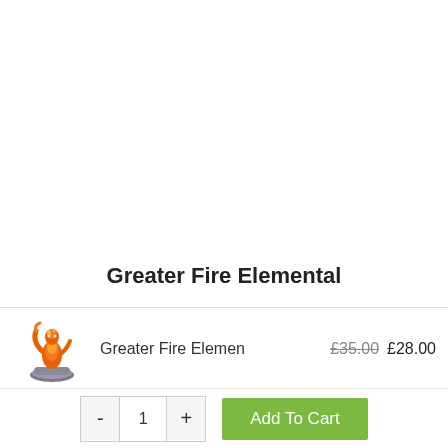Greater Fire Elemental
[Figure (illustration): Small figurine of a Greater Fire Elemental miniature — an orange humanoid fire creature on a rocky base]
Greater Fire Elemen
£35.00 £28.00
- 1 + Add To Cart